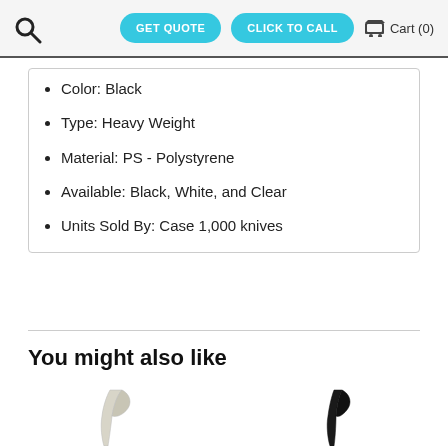GET QUOTE  CLICK TO CALL  Cart (0)
Color: Black
Type: Heavy Weight
Material: PS - Polystyrene
Available: Black, White, and Clear
Units Sold By: Case 1,000 knives
You might also like
[Figure (photo): White plastic knife standing upright]
[Figure (photo): Black plastic knife standing upright]